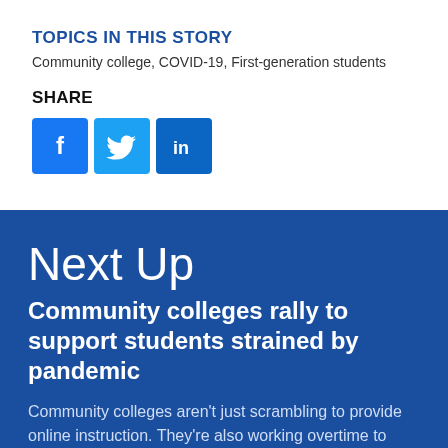TOPICS IN THIS STORY
Community college, COVID-19, First-generation students
SHARE
[Figure (infographic): Social media share buttons: Facebook (blue square with f), Twitter (light blue square with bird icon), LinkedIn (blue square with 'in' text)]
Next Up
Community colleges rally to support students strained by pandemic
Community colleges aren't just scrambling to provide online instruction. They're also working overtime to